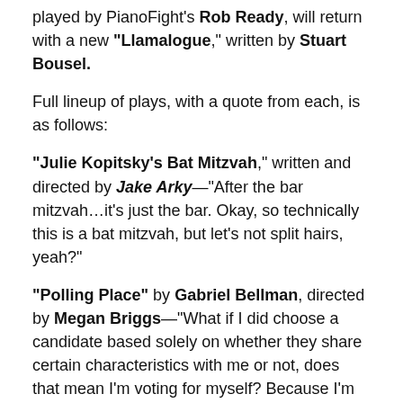played by PianoFight's Rob Ready, will return with a new “Llamalogue,” written by Stuart Bousel.
Full lineup of plays, with a quote from each, is as follows:
“Julie Kopitsky’s Bat Mitzvah,” written and directed by Jake Arky—“After the bar mitzvah…it’s just the bar. Okay, so technically this is a bat mitzvah, but let’s not split hairs, yeah?”
“Polling Place” by Gabriel Bellman, directed by Megan Briggs—“What if I did choose a candidate based solely on whether they share certain characteristics with me or not, does that mean I’m voting for myself? Because I’m terrified of narcissists.”
“Llama VI” by Stuart Bousel, directed by Emma Rose Shelton—“Look, I hate tradition as much as the next